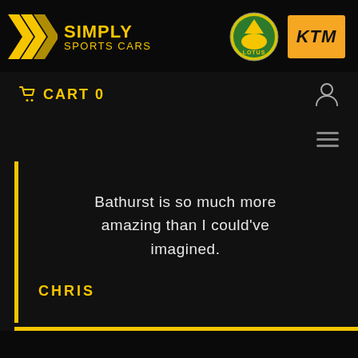[Figure (logo): Simply Sports Cars logo with yellow chevron arrows and brand name, alongside Lotus circular logo and KTM orange rectangle logo]
CART 0
Bathurst is so much more amazing than I could've imagined.
CHRIS